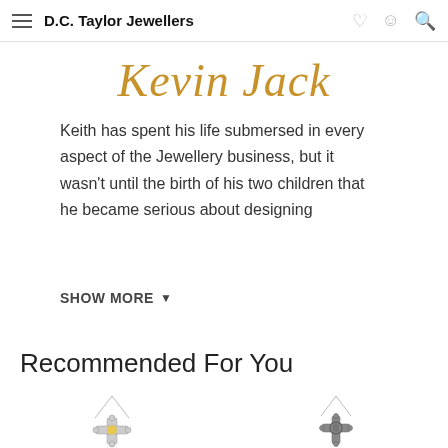D.C. Taylor Jewellers
[Figure (logo): Kevin Jack brand logo in gold italic script]
Keith has spent his life submersed in every aspect of the Jewellery business, but it wasn't until the birth of his two children that he became serious about designing
SHOW MORE ▼
Recommended For You
[Figure (photo): Two Celtic cross necklaces on chains, silver coloured, shown partially at the bottom of the page]